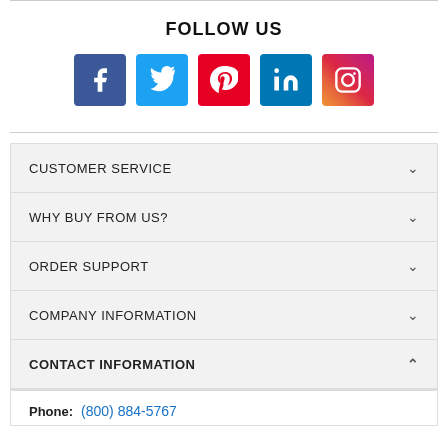FOLLOW US
[Figure (infographic): Social media icons: Facebook (blue), Twitter (light blue), Pinterest (red), LinkedIn (blue), Instagram (gradient)]
CUSTOMER SERVICE
WHY BUY FROM US?
ORDER SUPPORT
COMPANY INFORMATION
CONTACT INFORMATION
Phone: (800) 884-5767